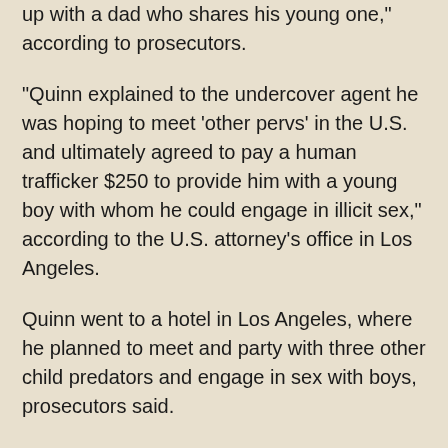up with a dad who shares his young one," according to prosecutors.
"Quinn explained to the undercover agent he was hoping to meet 'other pervs' in the U.S. and ultimately agreed to pay a human trafficker $250 to provide him with a young boy with whom he could engage in illicit sex," according to the U.S. attorney's office in Los Angeles.
Quinn went to a hotel in Los Angeles, where he planned to meet and party with three other child predators and engage in sex with boys, prosecutors said.
Instead, undercover agents were waiting inside the hotel room.
After Quinn handed money to an agent, who was posing as a sex trafficker, law enforcement authorities entered the room and arrested him, prosecutors said.
Weeks later in Riverside, authorities arrested Kounzong Saebphang, 26, a monk, at his home in the Wat Lao